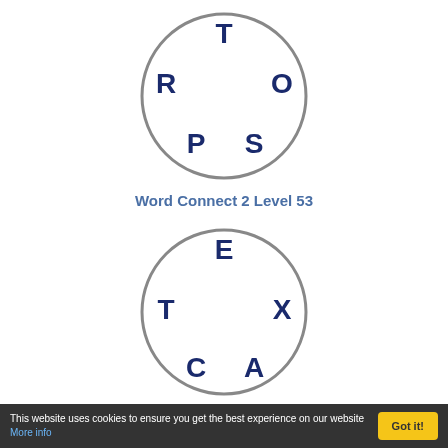[Figure (other): Circle puzzle with letters T (top), O (right), R (left), P (bottom-left), S (bottom-right) arranged on a circle - Word Connect 2 Level 53]
Word Connect 2 Level 53
[Figure (other): Circle puzzle with letters E (top), X (right), T (left), C (bottom-left), A (bottom-right) arranged on a circle - Word Connect 2 Level 54]
Word Connect 2 Level 54
This website uses cookies to ensure you get the best experience on our website More info